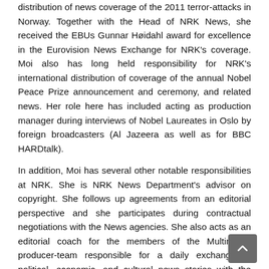distribution of news coverage of the 2011 terror-attacks in Norway. Together with the Head of NRK News, she received the EBUs Gunnar Høidahl award for excellence in the Eurovision News Exchange for NRK's coverage. Moi also has long held responsibility for NRK's international distribution of coverage of the annual Nobel Peace Prize announcement and ceremony, and related news. Her role here has included acting as production manager during interviews of Nobel Laureates in Oslo by foreign broadcasters (Al Jazeera as well as for BBC HARDtalk).
In addition, Moi has several other notable responsibilities at NRK. She is NRK News Department's advisor on copyright. She follows up agreements from an editorial perspective and she participates during contractual negotiations with the News agencies. She also acts as an editorial coach for the members of the Multimedia producer-team responsible for a daily exchange of political, economic, and cultural news stories with the Eurovision News Exchange and especially among the Nordic members.